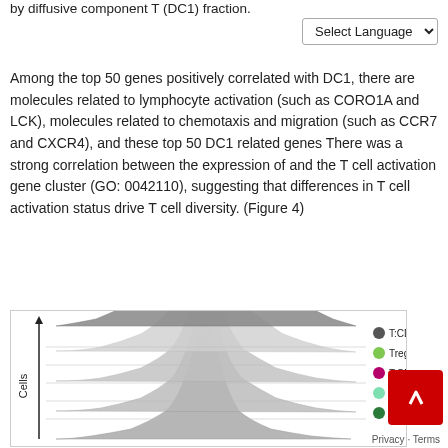by diffusive component T (DC1) fraction.
Among the top 50 genes positively correlated with DC1, there are molecules related to lymphocyte activation (such as CORO1A and LCK), molecules related to chemotaxis and migration (such as CCR7 and CXCR4), and these top 50 DC1 related genes There was a strong correlation between the expression of and the T cell activation gene cluster (GO: 0042110), suggesting that differences in T cell activation status drive T cell diversity. (Figure 4)
[Figure (continuous-plot): Ridge plot or stacked density curves showing cell distributions for different T cell subtypes: T:CD4+:CM2 (dark gray), Treg (light green), T:CM (magenta), T:CD8+:EM (mint green), T:CD4+:CM1 (dark green). Y-axis labeled 'Cells' with an upward arrow.]